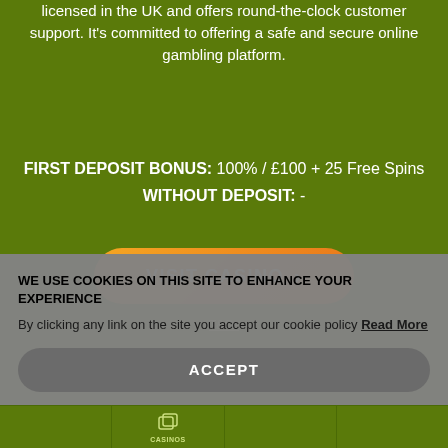licensed in the UK and offers round-the-clock customer support. It's committed to offering a safe and secure online gambling platform.
FIRST DEPOSIT BONUS: 100% / £100 + 25 Free Spins
WITHOUT DEPOSIT: -
[Figure (other): Orange rounded button labeled VISIT CASINO with right arrow]
T&Cs
[Figure (other): Dark navy bar/banner element partially visible]
WE USE COOKIES ON THIS SITE TO ENHANCE YOUR EXPERIENCE
By clicking any link on the site you accept our cookie policy Read More
[Figure (other): Accept button - dark rounded rectangle]
[Figure (other): Bottom navigation bar with CASINOS icon and label]